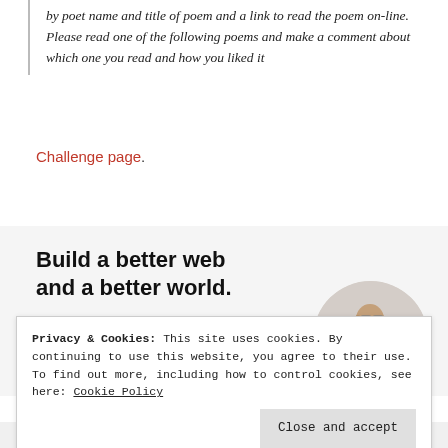by poet name and title of poem and a link to read the poem on-line. Please read one of the following poems and make a comment about which one you read and how you liked it
Challenge page.
[Figure (other): WordPress advertisement banner: 'Build a better web and a better world.' with an Apply button and a circular photo of a person thinking]
Privacy & Cookies: This site uses cookies. By continuing to use this website, you agree to their use. To find out more, including how to control cookies, see here: Cookie Policy
Close and accept
WordPress works best   Pressable